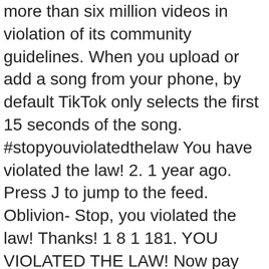more than six million videos in violation of its community guidelines. When you upload or add a song from your phone, by default TikTok only selects the first 15 seconds of the song. #stopyouviolatedthelaw You have violated the law! 2. 1 year ago. Press J to jump to the feed. Oblivion- Stop, you violated the law! Thanks! 1 8 1 181. YOU VIOLATED THE LAW! Now pay with your blood. A song that joked about the Holocaust went viral on TikTok, accumulating more than 6.5 million total views before the platform removed the sound and all videos that used it. Log in. Close. Click on the Bubble icon on the bottom to see what people say about your video. News of US President Trump signing executive orders on August 6th to … TikTok, known in China as Douyin (Chinese: 抖音; pinyin: Dǒuyīn), is a video-sharing social networking service owned by Chinese company ByteDance. Download the app to get started. skyrim Classic editor History Comments Share. They're only a tap away, with @paigeywageybaby Therefore I